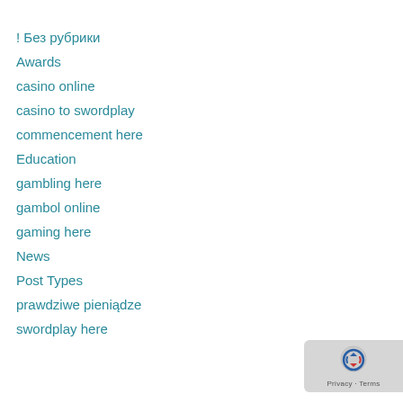! Без рубрики
Awards
casino online
casino to swordplay
commencement here
Education
gambling here
gambol online
gaming here
News
Post Types
prawdziwe pieniądze
swordplay here
[Figure (logo): reCAPTCHA badge with Privacy and Terms text]